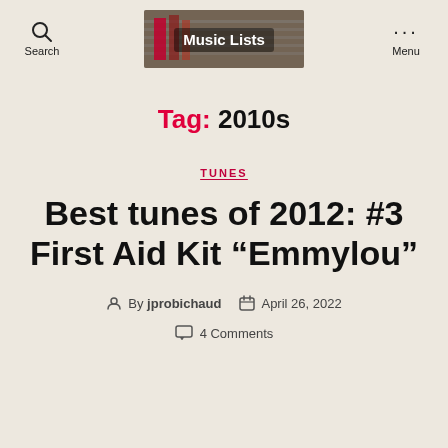Search | Music Lists | Menu
Tag: 2010s
TUNES
Best tunes of 2012: #3 First Aid Kit “Emmylou”
By jprobichaud | April 26, 2022 | 4 Comments